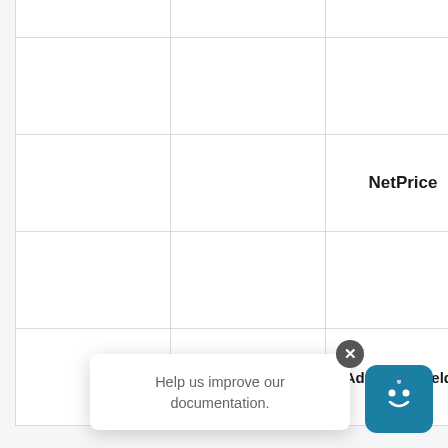|  |  |  |  |
|  |  |  |  |
|  |  | NetPrice |  |
|  |  |  |  |
|  |  | AdditionalFields |  |
Help us improve our documentation.